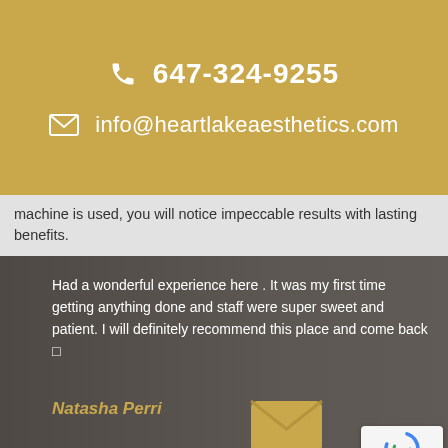647-324-9255
info@heartlakeaesthetics.com
machine is used, you will notice impeccable results with lasting benefits.
Had a wonderful experience here . It was my first time getting anything done and staff were super sweet and patient. I will definitely recommend this place and come back 🤍
Natasha Perri
Contact Us